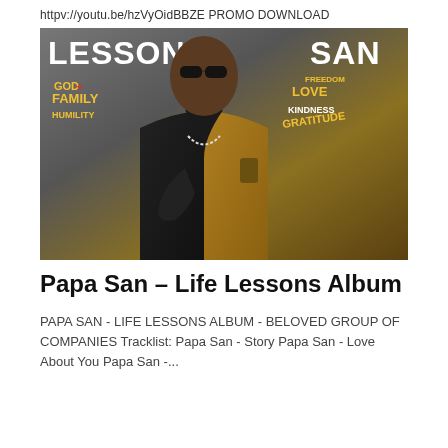httpv://youtu.be/hzVyOidBBZE PROMO DOWNLOAD
[Figure (photo): Album cover photo of Papa San wearing black sunglasses, black turtleneck, and a black and gold patterned blazer. Background has text overlays including LESSONS, SAN, GOD, FAMILY, HUMILITY, LOVE, FREEDOM, GRATITUDE.]
Papa San – Life Lessons Album
PAPA SAN - LIFE LESSONS ALBUM - BELOVED GROUP OF COMPANIES Tracklist: Papa San - Story Papa San - Love About You Papa San -...